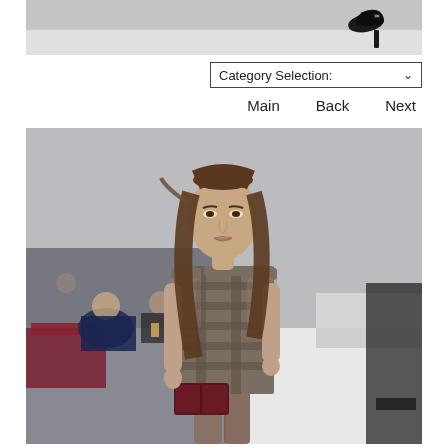[Figure (photo): Top partial image showing a black high-heel shoe on a light gray runway/floor background]
Category Selection:
Main    Back    Next
[Figure (photo): Fashion runway photo of a female model with long brown hair wearing a sleeveless brown/gray plaid check shift dress, holding a dark burgundy clutch bag, walking a runway with seated audience in background]